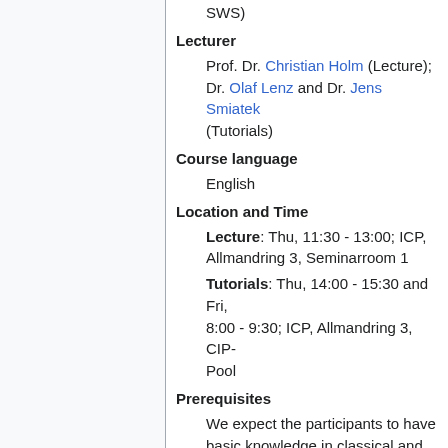SWS)
Lecturer
Prof. Dr. Christian Holm (Lecture); Dr. Olaf Lenz and Dr. Jens Smiatek (Tutorials)
Course language
English
Location and Time
Lecture: Thu, 11:30 - 13:00; ICP, Allmandring 3, Seminarroom 1
Tutorials: Thu, 14:00 - 15:30 and Fri, 8:00 - 9:30; ICP, Allmandring 3, CIP-Pool
Prerequisites
We expect the participants to have basic knowledge in classical and statistical mechanics, thermodynamics, and partial differential equations, as well as knowledge of a programming